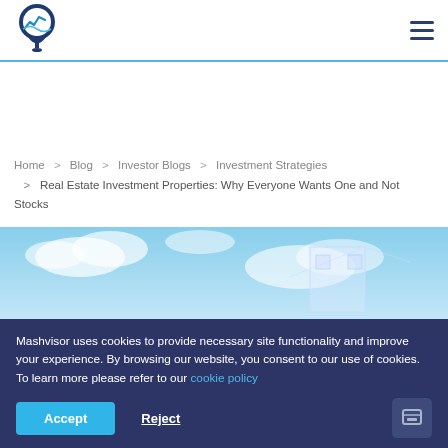[Figure (logo): Mashvisor logo: map pin with chart icon inside, dark navy and blue]
Home > Blog > Investor Blogs > Investment Strategies > Real Estate Investment Properties: Why Everyone Wants One and Not Stocks
[Figure (photo): Hero image showing blue sky with clouds and a translucent building/house outline]
Mashvisor uses cookies to provide necessary site functionality and improve your experience. By browsing our website, you consent to our use of cookies. To learn more please refer to our cookie policy